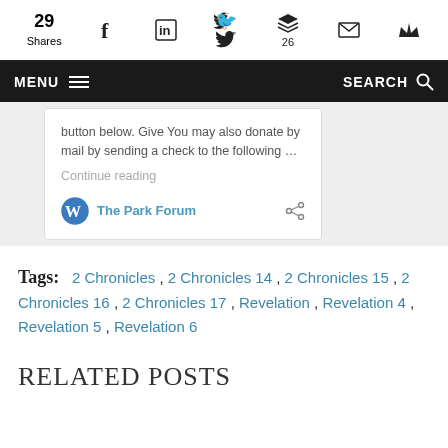29 Shares | Facebook | LinkedIn | Twitter | Buffer (26) | Email | Crown
MENU | SEARCH
button below. Give You may also donate by mail by sending a check to the following …
Continue reading
The Park Forum
Tags: 2 Chronicles , 2 Chronicles 14 , 2 Chronicles 15 , 2 Chronicles 16 , 2 Chronicles 17 , Revelation , Revelation 4 , Revelation 5 , Revelation 6
RELATED POSTS